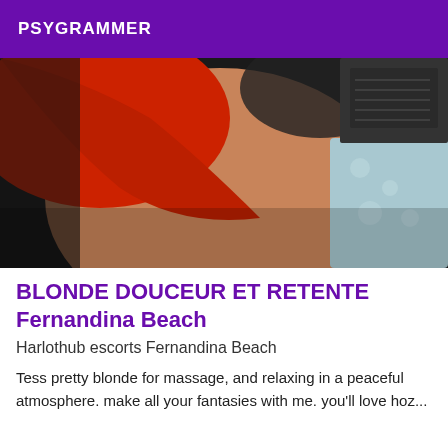PSYGRAMMER
[Figure (photo): A close-up photo showing a person wearing red clothing, partially visible, against a dark background with a light blue patterned surface visible on the right side.]
BLONDE DOUCEUR ET RETENTE
Fernandina Beach
Harlothub escorts Fernandina Beach
Tess pretty blonde for massage, and relaxing in a peaceful atmosphere. make all your fantasies with me. you'll love hoz...